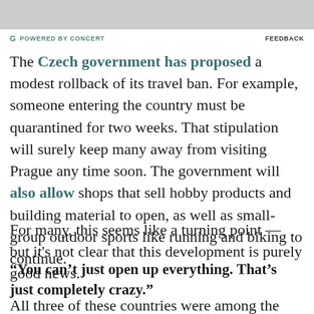[Figure (photo): Partial gray image at top of page]
POWERED BY CONCERT    FEEDBACK
The Czech government has proposed a modest rollback of its travel ban. For example, someone entering the country must be quarantined for two weeks. That stipulation will surely keep many away from visiting Prague any time soon. The government will also allow shops that sell hobby products and building material to open, as well as small-group outdoor sports like running and biking to continue.
For many, this seems like a turning point — but it's not clear that this development is purely good news.
“You can’t just open up everything. That’s just completely crazy.”
All three of these countries were among the first in